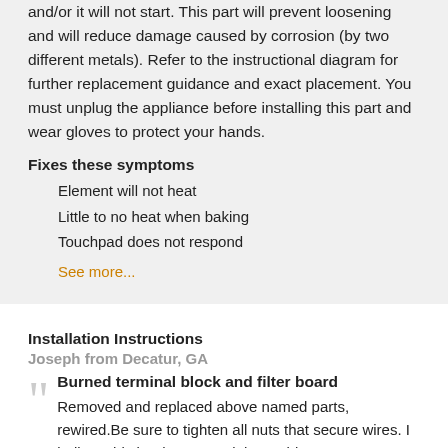and/or it will not start. This part will prevent loosening and will reduce damage caused by corrosion (by two different metals). Refer to the instructional diagram for further replacement guidance and exact placement. You must unplug the appliance before installing this part and wear gloves to protect your hands.
Fixes these symptoms
Element will not heat
Little to no heat when baking
Touchpad does not respond
See more...
Installation Instructions
Joseph from Decatur, GA
Burned terminal block and filter board
Removed and replaced above named parts, rewired.Be sure to tighten all nuts that secure wires. I believe this is what caused the problem.
Read more...